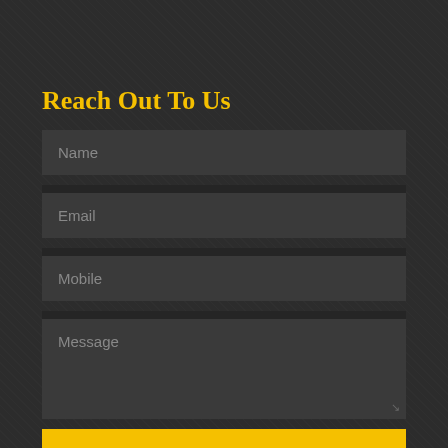Reach Out To Us
[Figure (screenshot): A dark-themed contact form with fields for Name, Email, Mobile, and Message, plus a yellow Submit button.]